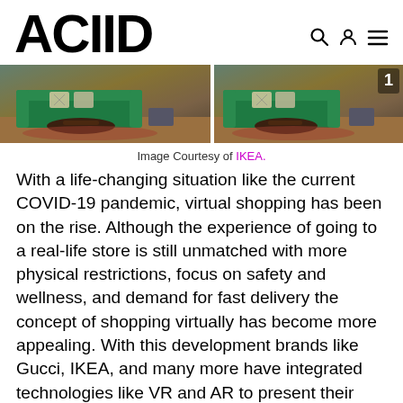ACIID
[Figure (photo): Two side-by-side photos of a living room setup featuring a green velvet sofa with patterned cushions, coffee table, and various furnishings. Right image shows a number 1 badge.]
Image Courtesy of IKEA.
With a life-changing situation like the current COVID-19 pandemic, virtual shopping has been on the rise. Although the experience of going to a real-life store is still unmatched with more physical restrictions, focus on safety and wellness, and demand for fast delivery the concept of shopping virtually has become more appealing. With this development brands like Gucci, IKEA, and many more have integrated technologies like VR and AR to present their collections. IKEA has utilized VR to showcase hyper-realistic designs of its